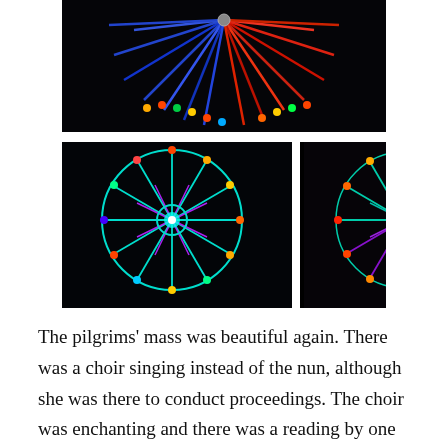[Figure (photo): A collage of three night-time photographs of illuminated Ferris wheels with colorful neon lights — blue and red on top, teal/purple/green on the bottom-left, and purple/teal/green on the bottom-right.]
The pilgrims' mass was beautiful again. There was a choir singing instead of the nun, although she was there to conduct proceedings. The choir was enchanting and there was a reading by one of the soldiers. At the end of the service everyone turned to their neighbours to shake